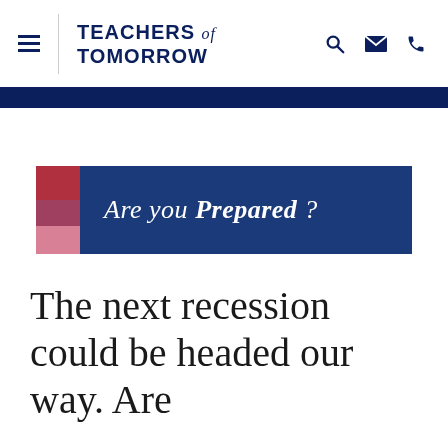Teachers of Tomorrow
[Figure (logo): Are you Prepared? banner with dark blue background and red/pink square accent]
The next recession could be headed our way. Are